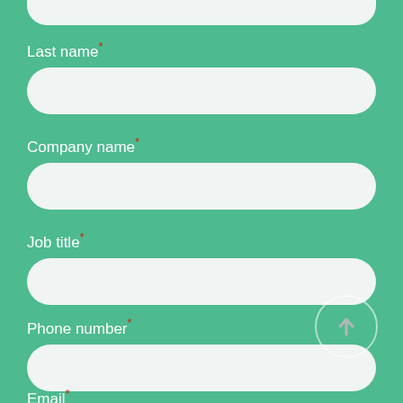Last name *
Company name *
Job title *
Phone number *
Email *